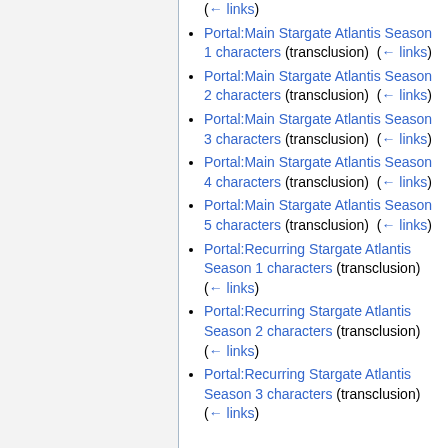(← links)
Portal:Main Stargate Atlantis Season 1 characters (transclusion) (← links)
Portal:Main Stargate Atlantis Season 2 characters (transclusion) (← links)
Portal:Main Stargate Atlantis Season 3 characters (transclusion) (← links)
Portal:Main Stargate Atlantis Season 4 characters (transclusion) (← links)
Portal:Main Stargate Atlantis Season 5 characters (transclusion) (← links)
Portal:Recurring Stargate Atlantis Season 1 characters (transclusion) (← links)
Portal:Recurring Stargate Atlantis Season 2 characters (transclusion) (← links)
Portal:Recurring Stargate Atlantis Season 3 characters (transclusion) (← links)